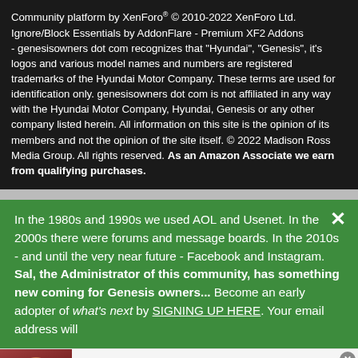Community platform by XenForo® © 2010-2022 XenForo Ltd. Ignore/Block Essentials by AddonFlare - Premium XF2 Addons - genesisowners dot com recognizes that "Hyundai", "Genesis", it's logos and various model names and numbers are registered trademarks of the Hyundai Motor Company. These terms are used for identification only. genesisowners dot com is not affiliated in any way with the Hyundai Motor Company, Hyundai, Genesis or any other company listed herein. All information on this site is the opinion of its members and not the opinion of the site itself. © 2022 Madison Ross Media Group. All rights reserved. As an Amazon Associate we earn from qualifying purchases.
In the 1980s and 1990s we used AOL and Usenet. In the 2000s there were forums and message boards. In the 2010s - and until the very near future - Facebook and Instagram. Sal, the Administrator of this community, has something new coming for Genesis owners... Become an early adopter of what's next by SIGNING UP HERE. Your email address will
[Figure (photo): Thumbnail photo of a man in a dark red shirt, partially visible]
3 Steps to Tell a Slot Might Be Close to
n/a